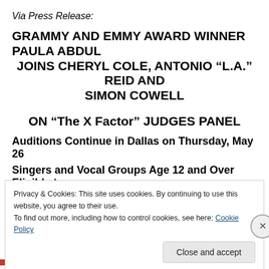Via Press Release:
GRAMMY AND EMMY AWARD WINNER PAULA ABDUL JOINS CHERYL COLE, ANTONIO “L.A.” REID AND SIMON COWELL ON “The X Factor” JUDGES PANEL
Auditions Continue in Dallas on Thursday, May 26
Singers and Vocal Groups Age 12 and Over Eligible to
Privacy & Cookies: This site uses cookies. By continuing to use this website, you agree to their use.
To find out more, including how to control cookies, see here: Cookie Policy
Close and accept